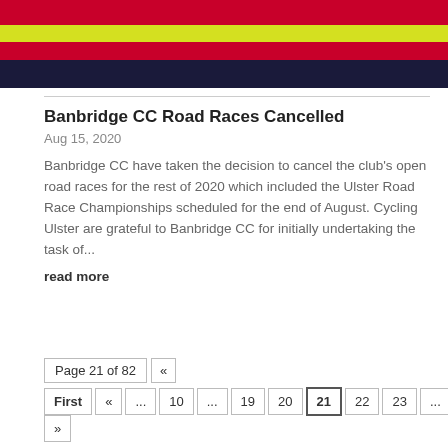[Figure (photo): Close-up of a cycling jersey or helmet with red, yellow-green, and dark navy stripes]
Banbridge CC Road Races Cancelled
Aug 15, 2020
Banbridge CC have taken the decision to cancel the club's open road races for the rest of 2020 which included the Ulster Road Race Championships scheduled for the end of August. Cycling Ulster are grateful to Banbridge CC for initially undertaking the task of...
read more
Page 21 of 82  «  First  «  ...  10  ...  19  20  21  22  23  ...  30  40  5  »